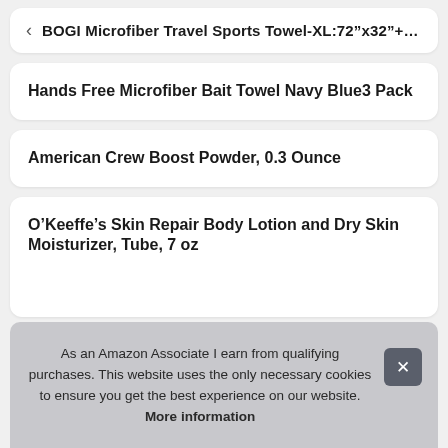BOGI Microfiber Travel Sports Towel-XL:72"x32"+…
Hands Free Microfiber Bait Towel Navy Blue3 Pack
American Crew Boost Powder, 0.3 Ounce
O'Keeffe's Skin Repair Body Lotion and Dry Skin Moisturizer, Tube, 7 oz
As an Amazon Associate I earn from qualifying purchases. This website uses the only necessary cookies to ensure you get the best experience on our website. More information